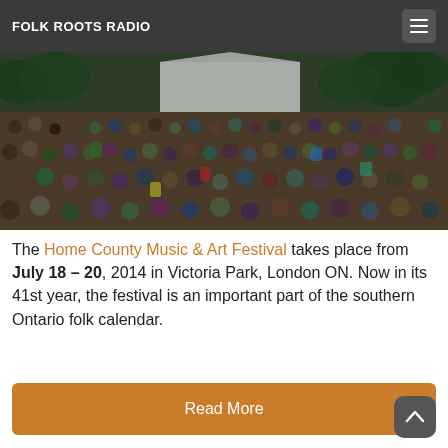FOLK ROOTS RADIO
[Figure (photo): Large outdoor festival crowd with tents and trees in background at Home County Music & Art Festival]
The Home County Music & Art Festival takes place from July 18 – 20, 2014 in Victoria Park, London ON. Now in its 41st year, the festival is an important part of the southern Ontario folk calendar.
Read More